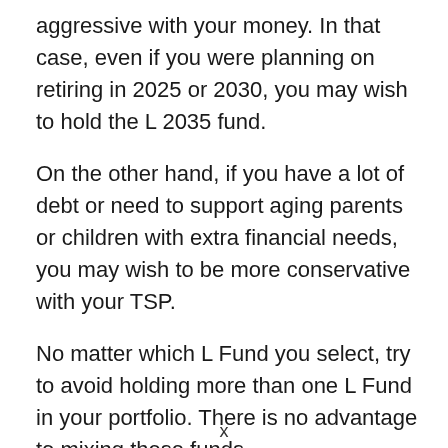aggressive with your money. In that case, even if you were planning on retiring in 2025 or 2030, you may wish to hold the L 2035 fund.
On the other hand, if you have a lot of debt or need to support aging parents or children with extra financial needs, you may wish to be more conservative with your TSP.
No matter which L Fund you select, try to avoid holding more than one L Fund in your portfolio. There is no advantage to mixing these funds.
x